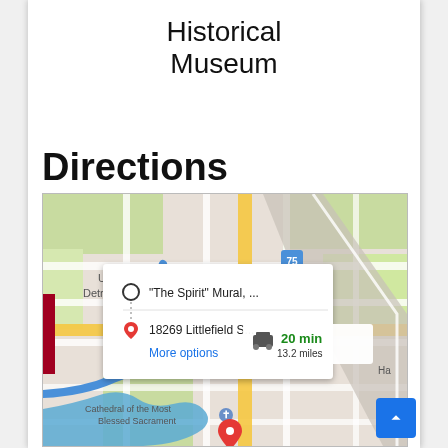Historical Museum
Directions
[Figure (screenshot): Google Maps screenshot showing directions from 'The Spirit' Mural to 18269 Littlefield S... with a route overlay showing 20 min, 13.2 miles by car. Map shows University of Detroit Mercy, Highland Park, Cathedral of the Most Blessed Sacrament areas.]